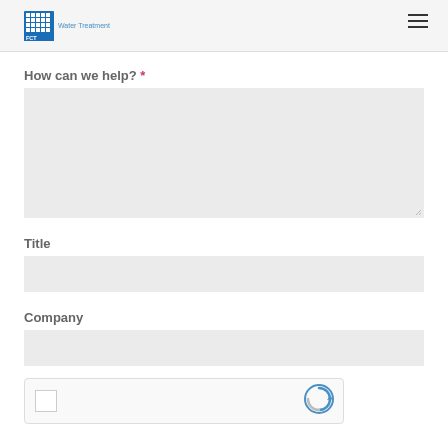Phone
[Figure (logo): FCT Water Treatment logo with blue grid icon and text]
How can we help? *
Title
Company
[Figure (other): reCAPTCHA widget with checkbox and Google logo]